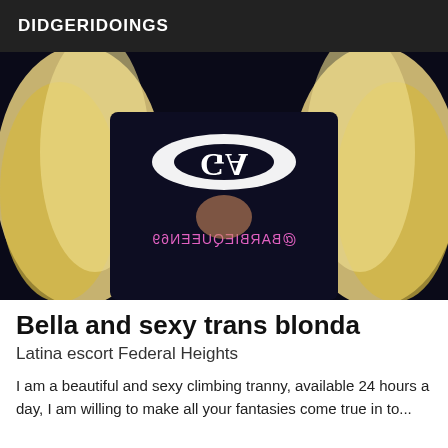DIDGERIDOINGS
[Figure (photo): Person with long blonde hair wearing a dark Armani top, mirrored text '@BARBIEQUEEN69' visible on clothing]
Bella and sexy trans blonda
Latina escort Federal Heights
I am a beautiful and sexy climbing tranny, available 24 hours a day, I am willing to make all your fantasies come true in total...